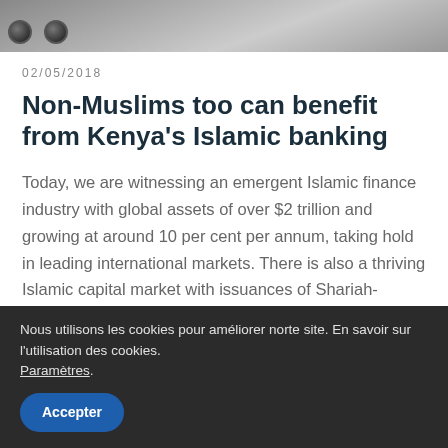[Figure (photo): Top banner photo showing mechanical equipment bolts on a stone/concrete surface]
02/05/2018
Non-Muslims too can benefit from Kenya's Islamic banking
Today, we are witnessing an emergent Islamic finance industry with global assets of over $2 trillion and growing at around 10 per cent per annum, taking hold in leading international markets. There is also a thriving Islamic capital market with issuances of Shariah-compliant asset-based securities (Sukuk) reaching to $98 billion in
Nous utilisons les cookies pour améliorer norte site. En savoir sur l'utilisation des cookies. Paramètres.
Accepter